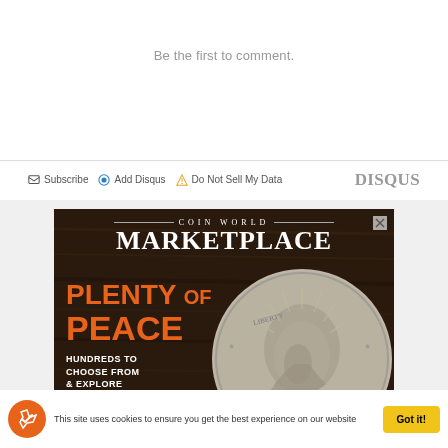Be the first to comment.
✉ Subscribe  🔵 Add Disqus  ⚠ Do Not Sell My Data    DISQUS
[Figure (photo): Coin World Marketplace advertisement showing a Peace dollar coin with text 'PLENTY OF PEACE - HUNDREDS TO CHOOSE FROM & EXPLORE' on a dark brown wooden background]
This site uses cookies to ensure you get the best experience on our website   Got it!